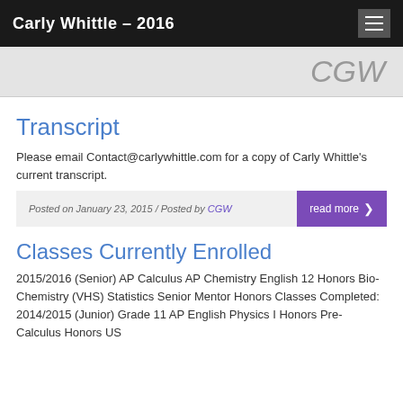Carly Whittle – 2016
[Figure (other): CGW initials banner on grey background]
Transcript
Please email Contact@carlywhittle.com for a copy of Carly Whittle's current transcript.
Posted on January 23, 2015 / Posted by CGW   read more
Classes Currently Enrolled
2015/2016 (Senior) AP Calculus AP Chemistry English 12 Honors Bio-Chemistry (VHS) Statistics Senior Mentor Honors Classes Completed: 2014/2015 (Junior) Grade 11 AP English Physics I Honors Pre-Calculus Honors US